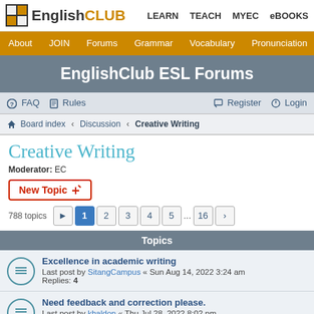EnglishCLUB — LEARN  TEACH  MYEC  eBOOKS
About  JOIN  Forums  Grammar  Vocabulary  Pronunciation  Listening
EnglishClub ESL Forums
FAQ  Rules  Register  Login
Board index › Discussion › Creative Writing
Creative Writing
Moderator: EC
New Topic
788 topics  1  2  3  4  5  ...  16  >
Topics
Excellence in academic writing
Last post by SitangCampus « Sun Aug 14, 2022 3:24 am
Replies: 4
Need feedback and correction please.
Last post by khaldon « Thu Jul 28, 2022 8:02 pm
Creative Writing Review: Writing S…